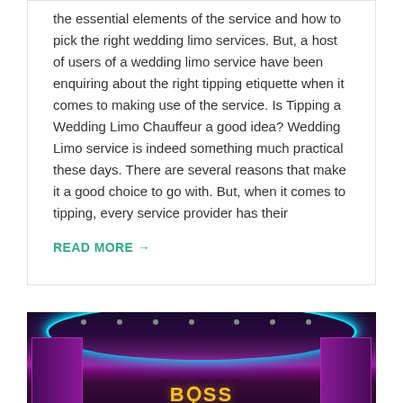the essential elements of the service and how to pick the right wedding limo services. But, a host of users of a wedding limo service have been enquiring about the right tipping etiquette when it comes to making use of the service. Is Tipping a Wedding Limo Chauffeur a good idea? Wedding Limo service is indeed something much practical these days. There are several reasons that make it a good choice to go with. But, when it comes to tipping, every service provider has their
READ MORE →
[Figure (photo): Interior of a party/limo bus with purple and pink LED lighting, cyan arc ceiling light, Boss Audio Systems logo visible on a screen, speakers on sides, dark luxury interior]